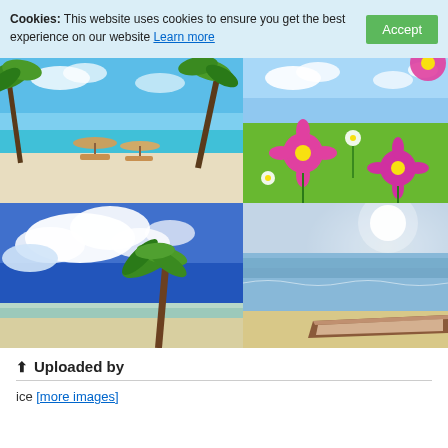Cookies: This website uses cookies to ensure you get the best experience on our website Learn more
[Figure (photo): Tropical beach scene with palm trees, white sand, turquoise water, and beach umbrellas with lounge chairs]
[Figure (photo): Field of pink and white cosmos flowers with blue sky background]
[Figure (photo): Blue sky with fluffy white clouds and tropical palm tree on beach]
[Figure (photo): Calm ocean scene with boat on sandy beach and bright sky]
⬆ Uploaded by
ice [more images]